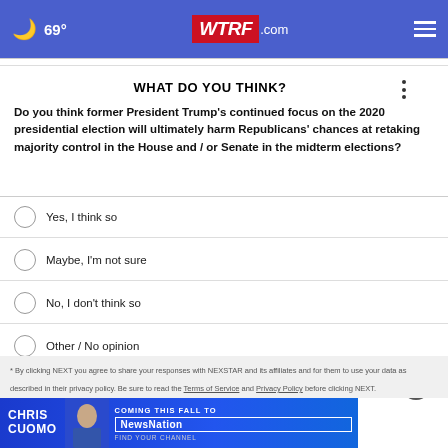🌙 69° WTRF.com ☰
WHAT DO YOU THINK?
Do you think former President Trump's continued focus on the 2020 presidential election will ultimately harm Republicans' chances at retaking majority control in the House and / or Senate in the midterm elections?
Yes, I think so
Maybe, I'm not sure
No, I don't think so
Other / No opinion
NEXT *
* By clicking NEXT you agree to share your ... read ...
[Figure (advertisement): CHRIS CUOMO COMING THIS FALL TO NEWSNATION FIND YOUR CHANNEL advertisement banner]